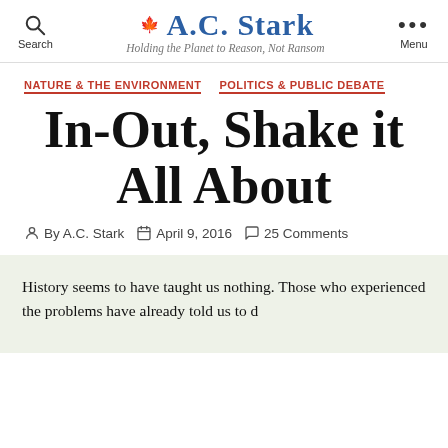A.C. Stark — Holding the Planet to Reason, Not Ransom
NATURE & THE ENVIRONMENT   POLITICS & PUBLIC DEBATE
In-Out, Shake it All About
By A.C. Stark   April 9, 2016   25 Comments
History seems to have taught us nothing. Those who experienced the problems have already told us to d...